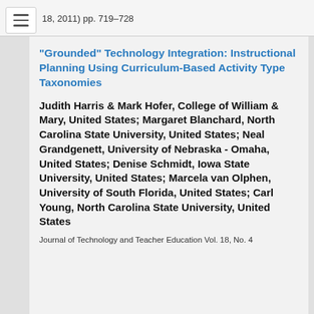18, 2011) pp. 719–728
“Grounded” Technology Integration: Instructional Planning Using Curriculum-Based Activity Type Taxonomies
Judith Harris & Mark Hofer, College of William & Mary, United States; Margaret Blanchard, North Carolina State University, United States; Neal Grandgenett, University of Nebraska - Omaha, United States; Denise Schmidt, Iowa State University, United States; Marcela van Olphen, University of South Florida, United States; Carl Young, North Carolina State University, United States
Journal of Technology and Teacher Education Vol. 18, No. 4